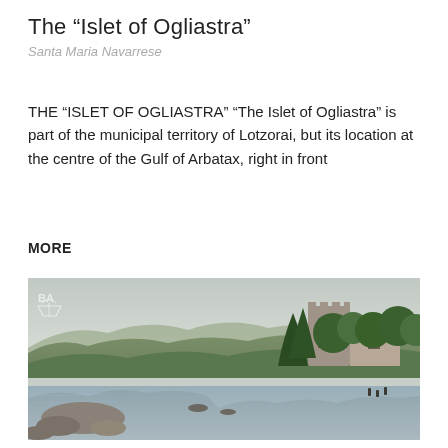The “Islet of Ogliastra”
Santa Maria Navarrese
THE “ISLET OF OGLIASTRA” “The Islet of Ogliastra” is part of the municipal territory of Lotzorai, but its location at the centre of the Gulf of Arbatax, right in front
MORE
[Figure (photo): Coastal landscape photograph showing a rocky shoreline with calm water in the foreground, an old stone tower/building and trees to the right, green hills and mountains in the background, under a hazy sky.]